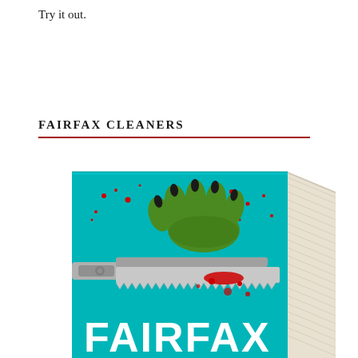Try it out.
FAIRFAX CLEANERS
[Figure (photo): A 3D book cover for 'Fairfax Cleaners' showing a teal/turquoise background with a green monster hand with black claws at the top, a bloody hacksaw in the middle, and red blood spatters throughout. The word 'FAIRFAX' is visible in large white text at the bottom. The book is shown at an angle with its pages visible on the right side.]